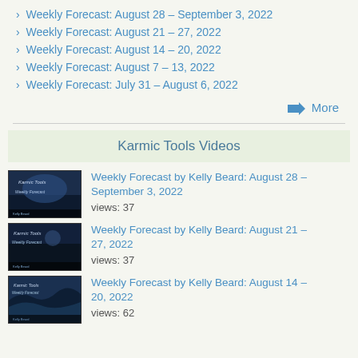Weekly Forecast: August 28 – September 3, 2022
Weekly Forecast: August 21 – 27, 2022
Weekly Forecast: August 14 – 20, 2022
Weekly Forecast: August 7 – 13, 2022
Weekly Forecast: July 31 – August 6, 2022
➔  More
Karmic Tools Videos
[Figure (photo): Thumbnail image for Karmic Tools Weekly Forecast video, dark night sky landscape]
Weekly Forecast by Kelly Beard: August 28 – September 3, 2022
views: 37
[Figure (photo): Thumbnail image for Karmic Tools Weekly Forecast video, night sky with text overlay]
Weekly Forecast by Kelly Beard: August 21 – 27, 2022
views: 37
[Figure (photo): Thumbnail image for Karmic Tools Weekly Forecast video, ocean waves scene]
Weekly Forecast by Kelly Beard: August 14 – 20, 2022
views: 62